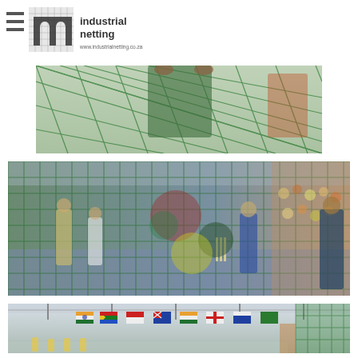[Figure (logo): Industrial Netting logo with hamburger menu icon, stylized 'n' letter mark, text 'industrial netting' and website www.industrialnetting.co.za]
[Figure (photo): Close-up photo of a person in green shorts holding a green sports net, viewed from behind through the netting]
[Figure (photo): Indoor cricket facility photo showing players on a court through a green net, with a crowd of spectators visible on the right side and semi-transparent colored circle overlays on the image]
[Figure (photo): Indoor cricket facility showing international flags (South Africa, Singapore, Australia, India, England among others) hanging from the ceiling rafters, green netting visible, players on court below]